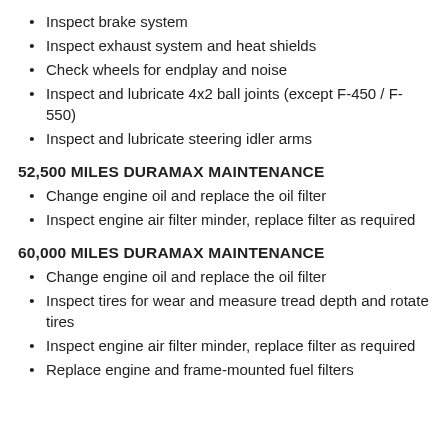Inspect brake system
Inspect exhaust system and heat shields
Check wheels for endplay and noise
Inspect and lubricate 4x2 ball joints (except F-450 / F-550)
Inspect and lubricate steering idler arms
52,500 MILES DURAMAX MAINTENANCE
Change engine oil and replace the oil filter
Inspect engine air filter minder, replace filter as required
60,000 MILES DURAMAX MAINTENANCE
Change engine oil and replace the oil filter
Inspect tires for wear and measure tread depth and rotate tires
Inspect engine air filter minder, replace filter as required
Replace engine and frame-mounted fuel filters